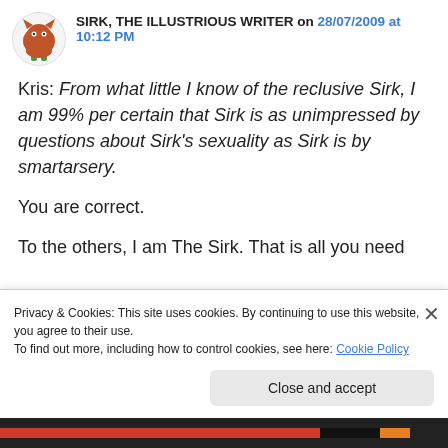SIRK, THE ILLUSTRIOUS WRITER on 28/07/2009 at 10:12 PM
Kris: From what little I know of the reclusive Sirk, I am 99% per certain that Sirk is as unimpressed by questions about Sirk's sexuality as Sirk is by smartarsery.

You are correct.

To the others, I am The Sirk. That is all you need
Privacy & Cookies: This site uses cookies. By continuing to use this website, you agree to their use.
To find out more, including how to control cookies, see here: Cookie Policy